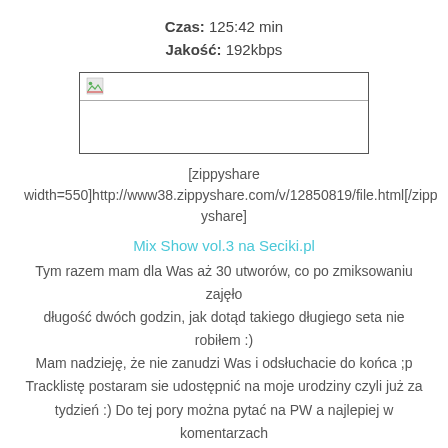Czas: 125:42 min
Jakość: 192kbps
[Figure (screenshot): Embedded media player box with a broken image icon in the top-left corner and a horizontal divider line below it]
[zippyshare width=550]http://www38.zippyshare.com/v/12850819/file.html[/zippyshare]
Mix Show vol.3 na Seciki.pl
Tym razem mam dla Was aż 30 utworów, co po zmiksowaniu zajęło długość dwóch godzin, jak dotąd takiego długiego seta nie robiłem :) Mam nadzieję, że nie zanudzi Was i odsłuchacie do końca ;p Tracklistę postaram sie udostępnić na moje urodziny czyli już za tydzień :) Do tej pory można pytać na PW a najlepiej w komentarzach o minuty ;)